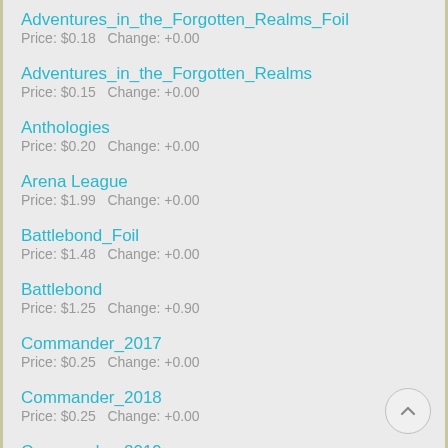Adventures_in_the_Forgotten_Realms_Foil
Price: $0.18   Change: +0.00
Adventures_in_the_Forgotten_Realms
Price: $0.15   Change: +0.00
Anthologies
Price: $0.20   Change: +0.00
Arena League
Price: $1.99   Change: +0.00
Battlebond_Foil
Price: $1.48   Change: +0.00
Battlebond
Price: $1.25   Change: +0.90
Commander_2017
Price: $0.25   Change: +0.00
Commander_2018
Price: $0.25   Change: +0.00
Commander_2019 (partial)